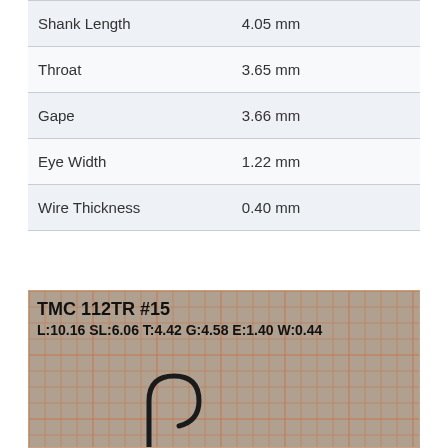| Property | Value |
| --- | --- |
| Shank Length | 4.05 mm |
| Throat | 3.65 mm |
| Gape | 3.66 mm |
| Eye Width | 1.22 mm |
| Wire Thickness | 0.40 mm |
[Figure (photo): Photograph of a fishing hook (TMC 112TR #15) on a measurement grid background. Text overlay reads: TMC 112TR #15, L:10.16 SL:6.06 T:4.42 G:4.58 E:1.40 W:0.44]